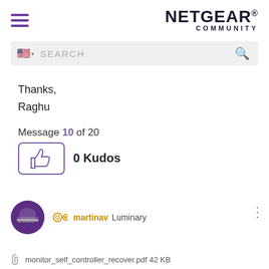[Figure (logo): NETGEAR Community logo with hamburger menu icon]
[Figure (screenshot): Search bar with US flag, SEARCH placeholder and magnifying glass icon]
Thanks,
Raghu
Message 10 of 20
[Figure (other): Kudos button with thumbs up icon showing 0 Kudos]
[Figure (other): User avatar for martinav (purple circle with network switch icon)]
martinav Luminary
monitor_self_controller_recover.pdf 42 KB